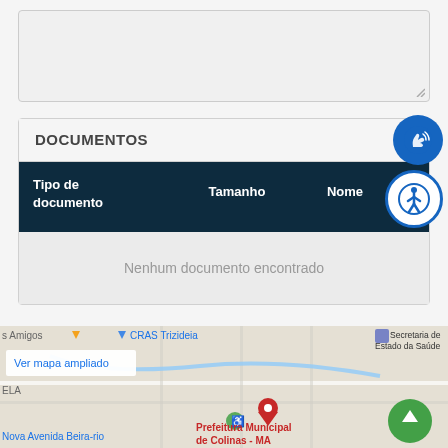[Figure (screenshot): Gray textarea input box with resize handle at bottom right]
DOCUMENTOS
| Tipo de documento | Tamanho | Nome | B |
| --- | --- | --- | --- |
| Nenhum documento encontrado |  |  |  |
[Figure (map): Google Maps screenshot showing streets near Prefeitura Municipal de Colinas MA, with markers for CRAS Trizideia, Secretaria de Estado da Saúde, and Prefeitura Municipal de Colinas MA. Includes Ver mapa ampliado link and green scroll-to-top button.]